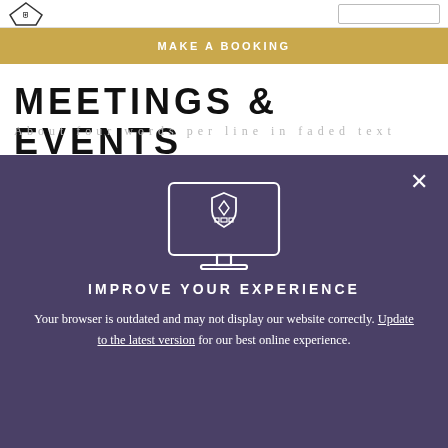MAKE A BOOKING
MEETINGS & EVENTS
A b c d e f g h i j k l m n o p q r s t u v
[Figure (screenshot): Modal overlay on a dark purple background showing a monitor icon with a shield/crest logo, a close (X) button, heading 'IMPROVE YOUR EXPERIENCE', and text about updating the browser.]
IMPROVE YOUR EXPERIENCE
Your browser is outdated and may not display our website correctly. Update to the latest version for our best online experience.